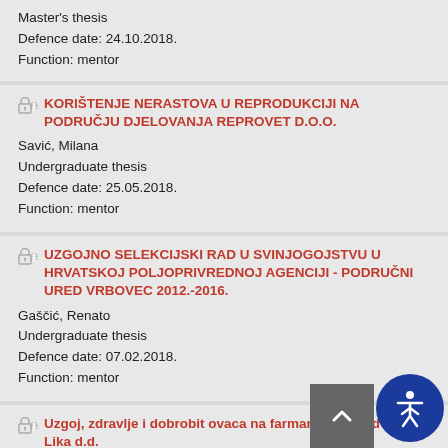Master's thesis
Defence date: 24.10.2018.
Function: mentor
KORIŠTENJE NERASTOVA U REPRODUKCIJI NA PODRUČJU DJELOVANJA REPROVET D.O.O.
Savić, Milana
Undergraduate thesis
Defence date: 25.05.2018.
Function: mentor
UZGOJNO SELEKCIJSKI RAD U SVINJOGOJSTVU U HRVATSKOJ POLJOPRIVREDNOJ AGENCIJI - PODRUČNI URED VRBOVEC 2012.-2016.
Gaščić, Renato
Undergraduate thesis
Defence date: 07.02.2018.
Function: mentor
Uzgoj, zdravlje i dobrobit ovaca na farmama Bioplod Lika d.d.
Palijan, Nikolina
Master's thesis